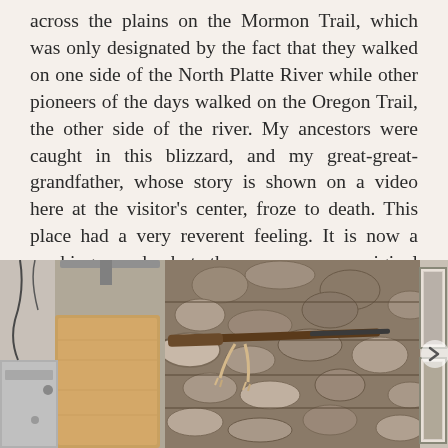across the plains on the Mormon Trail, which was only designated by the fact that they walked on one side of the North Platte River while other pioneers of the days walked on the Oregon Trail, the other side of the river. My ancestors were caught in this blizzard, and my great-great-grandfather, whose story is shown on a video here at the visitor's center, froze to death. This place had a very reverent feeling. It is now a working ranch, but there are many original artifacts to see.
[Figure (photo): Interior photo showing a stone fireplace with a rifle mounted on it, wooden furniture, and framed pictures on the wall to the right.]